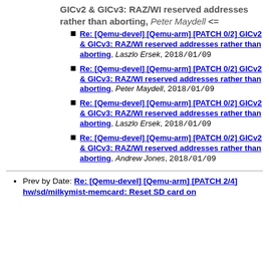GICv2 & GICv3: RAZ/WI reserved addresses rather than aborting, Peter Maydell <=
Re: [Qemu-devel] [Qemu-arm] [PATCH 0/2] GICv2 & GICv3: RAZ/WI reserved addresses rather than aborting, Laszlo Ersek, 2018/01/09
Re: [Qemu-devel] [Qemu-arm] [PATCH 0/2] GICv2 & GICv3: RAZ/WI reserved addresses rather than aborting, Peter Maydell, 2018/01/09
Re: [Qemu-devel] [Qemu-arm] [PATCH 0/2] GICv2 & GICv3: RAZ/WI reserved addresses rather than aborting, Laszlo Ersek, 2018/01/09
Re: [Qemu-devel] [Qemu-arm] [PATCH 0/2] GICv2 & GICv3: RAZ/WI reserved addresses rather than aborting, Andrew Jones, 2018/01/09
Prev by Date: Re: [Qemu-devel] [Qemu-arm] [PATCH 2/4] hw/sd/milkymist-memcard: Reset SD card on